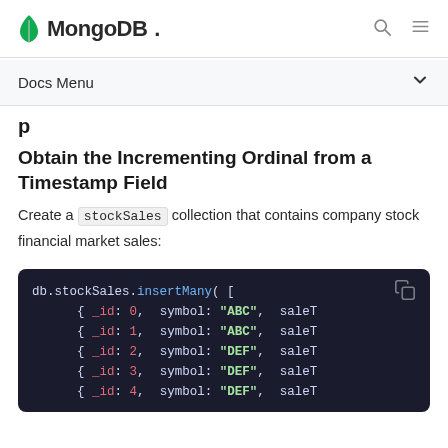MongoDB
Docs Menu
Obtain the Incrementing Ordinal from a Timestamp Field
Create a stockSales collection that contains company stock financial market sales:
[Figure (screenshot): Code block showing db.stockSales.insertMany( [ with entries { _id: 0, symbol: "ABC", saleT ... { _id: 1, symbol: "ABC", saleT ... { _id: 2, symbol: "DEF", saleT ... { _id: 3, symbol: "DEF", saleT ... { _id: 4, symbol: "DEF", saleT ...]